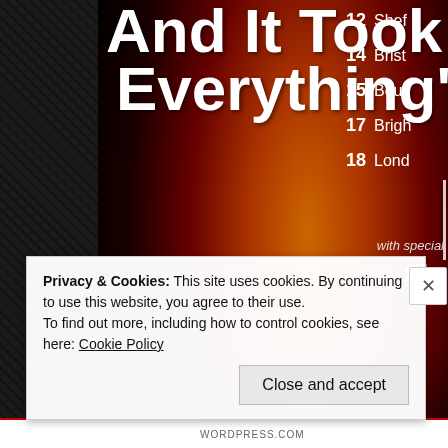[Figure (photo): Concert poster screenshot showing silhouetted crowd against warm red/orange/yellow stage lighting background, with large white text reading 'And It Took Everything']
And It Took Everything'
12  Shef
14  Brist
15  Bour
17  Brigh
18  Lond
with special
Slo
Privacy & Cookies: This site uses cookies. By continuing to use this website, you agree to their use.
To find out more, including how to control cookies, see here: Cookie Policy
Close and accept